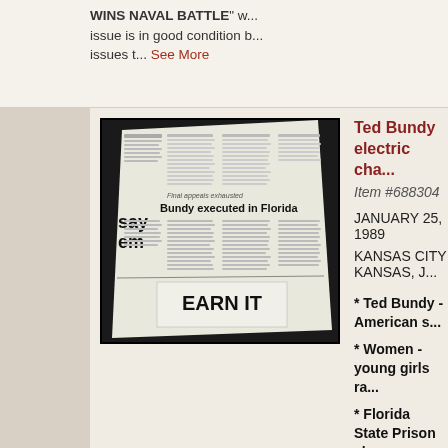WINS NAVAL BATTLE" w... issue is in good condition b... issues t... See More
[Figure (photo): Photograph of a newspaper page showing headline 'Bundy executed in Florida' with subheading 'Final appeals exhausted', and advertisement reading 'EARN IT' at the bottom]
Ted Bundy electric cha...
Item #688304
JANUARY 25, 1989
KANSAS CITY KANSAS, J...
* Ted Bundy - American s...
* Women - young girls ra...
* Florida State Prison ele...
Page 3 has a three column... "Final appeals exhausted"...
Complete with 10 pages, s... within the masthead, other...